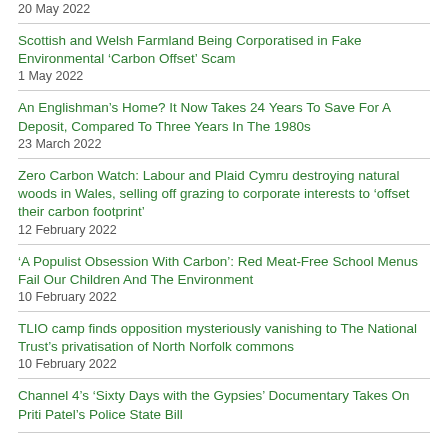20 May 2022
Scottish and Welsh Farmland Being Corporatised in Fake Environmental ‘Carbon Offset’ Scam
1 May 2022
An Englishman’s Home? It Now Takes 24 Years To Save For A Deposit, Compared To Three Years In The 1980s
23 March 2022
Zero Carbon Watch: Labour and Plaid Cymru destroying natural woods in Wales, selling off grazing to corporate interests to ‘offset their carbon footprint’
12 February 2022
‘A Populist Obsession With Carbon’: Red Meat-Free School Menus Fail Our Children And The Environment
10 February 2022
TLIO camp finds opposition mysteriously vanishing to The National Trust’s privatisation of North Norfolk commons
10 February 2022
Channel 4’s ‘Sixty Days with the Gypsies’ Documentary Takes On Priti Patel’s Police State Bill